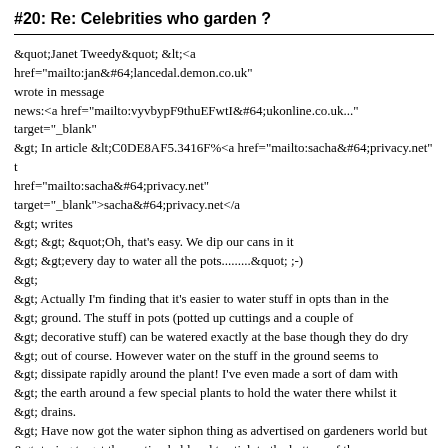#20: Re: Celebrities who garden ?
&quot;Janet Tweedy&quot; &lt;<a href="mailto:jan&#64;lancedal.demon.co.uk"> wrote in message news:<a href="mailto:vyvbypF9thuEFwtI&#64;ukonline.co.uk..." target="_blank"> &gt; In article &lt;C0DE8AF5.3416F%<a href="mailto:sacha&#64;privacy.net" t href="mailto:sacha&#64;privacy.net" target="_blank">sacha&#64;privacy.net</a> &gt; writes &gt; &gt; &quot;Oh, that's easy. We dip our cans in it &gt; &gt;every day to water all the pots.........&quot; ;-) &gt; &gt; Actually I'm finding that it's easier to water stuff in opts than in the &gt; ground. The stuff in pots (potted up cuttings and a couple of &gt; decorative stuff) can be watered exactly at the base though they do dry &gt; out of course. However water on the stuff in the ground seems to &gt; dissipate rapidly around the plant! I've even made a sort of dam with &gt; the earth around a few special plants to hold the water there whilst it &gt; drains. &gt; Have now got the water siphon thing as advertised on gardeners world but &gt; trying to get the suction held end to stick to the bottom of the &gt; 350litre water barrel might be a problem without actually falling in !
Have you tried tying it to a brick or half-brick, and lowering it in ?